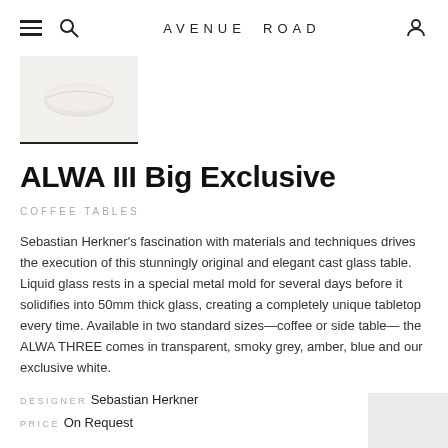AVENUE ROAD
[Figure (photo): Small thumbnail photo of the ALWA III Big Exclusive coffee table in white cast glass, shown from above on a light background]
ALWA III Big Exclusive
COFFEE TABLES
Sebastian Herkner's fascination with materials and techniques drives the execution of this stunningly original and elegant cast glass table. Liquid glass rests in a special metal mold for several days before it solidifies into 50mm thick glass, creating a completely unique tabletop every time. Available in two standard sizes—coffee or side table— the ALWA THREE comes in transparent, smoky grey, amber, blue and our exclusive white.
DESIGNER Sebastian Herkner
PRICE On Request